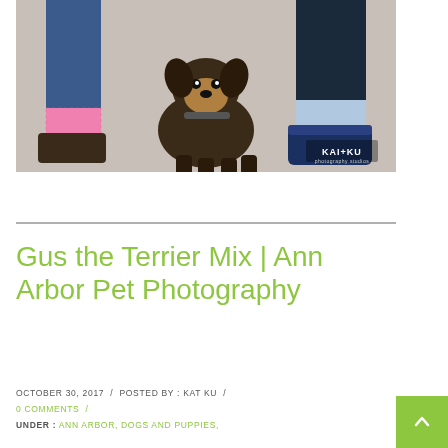[Figure (photo): Photo of a small dog (terrier mix) sitting on pavement between two people's feet/legs. Left person wears pink socks with sandals and jeans, right person wears blue socks and blue sneakers. A watermark 'KAI+KU' is visible in the lower right corner of the photo.]
Gus the Terrier Mix | Ann Arbor Pet Photography
OCTOBER 30, 2017  /  POSTED BY : KAT KU  /  0 COMMENTS  /
UNDER : ANN ARBOR, DOGS AND PUPPIES,